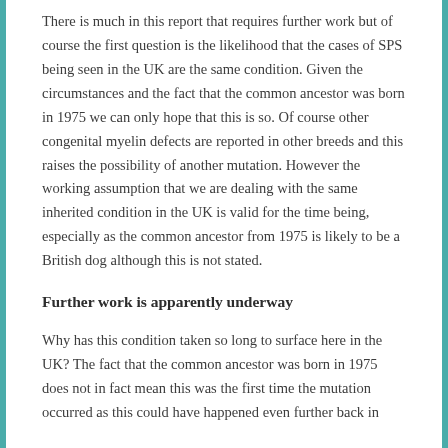There is much in this report that requires further work but of course the first question is the likelihood that the cases of SPS being seen in the UK are the same condition. Given the circumstances and the fact that the common ancestor was born in 1975 we can only hope that this is so. Of course other congenital myelin defects are reported in other breeds and this raises the possibility of another mutation. However the working assumption that we are dealing with the same inherited condition in the UK is valid for the time being, especially as the common ancestor from 1975 is likely to be a British dog although this is not stated.
Further work is apparently underway
Why has this condition taken so long to surface here in the UK? The fact that the common ancestor was born in 1975 does not in fact mean this was the first time the mutation occurred as this could have happened even further back in